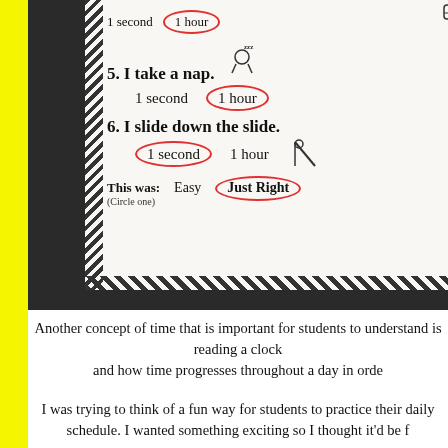[Figure (photo): Photo of a student worksheet about estimating time (seconds vs hours). Items 5 and 6 are visible. Item 5: 'I take a nap.' with '1 hour' circled in red. Item 6: 'I slide down the slide.' with '1 second' circled in red. Footer: 'This was: Easy [Just Right] (Circle one)' with 'Just Right' circled. The worksheet has a decorative zigzag/diamond border. Small line-drawing illustrations of a sleeping person and a slide are visible.]
Another concept of time that is important for students to understand is reading a clock and how time progresses throughout a day in order
I was trying to think of a fun way for students to practice their daily schedule. I wanted something exciting so I thought it'd be f